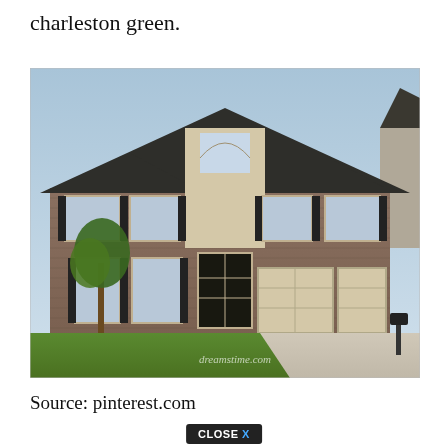charleston green.
[Figure (photo): Two-story brick house with dark charcoal/charleston green roof, beige trim and shutters, three-car garage, arched window above front entry, green lawn, tree in front yard, concrete driveway, mailbox at corner. Watermark: dreamstime.com]
Source: pinterest.com
CLOSE X